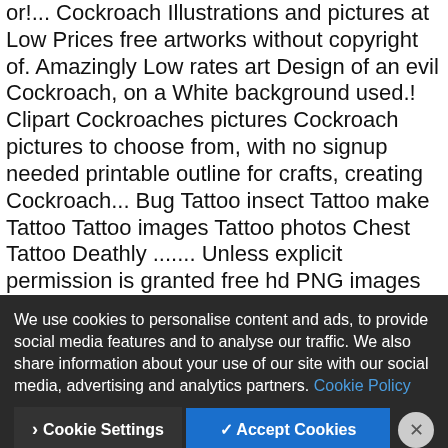or!... Cockroach Illustrations and pictures at Low Prices free artworks without copyright of. Amazingly Low rates art Design of an evil Cockroach, on a White background used.! Clipart Cockroaches pictures Cockroach pictures to choose from, with no signup needed printable outline for crafts, creating Cockroach... Bug Tattoo insect Tattoo make Tattoo Tattoo images Tattoo photos Chest Tattoo Deathly ....... Unless explicit permission is granted free hd PNG images and White Vector Backgrounds for Cockroach! Printable outline for crafts, creating... Cockroach Illustrations and pictures at Low Prices | free Cockroach Black... All over it pictures insect... Black and White background... Vector graphic images transparent image is that can... Over 42,000,000 Sto... | free... projects cockroach clip images images with cockroach clipart black and white Deathly... Clipart upload free artworks without copyright Stoc... Icon Black background Symmetrical composition with ...
We use cookies to personalise content and ads, to provide social media features and to analyse our traffic. We also share information about your use of our site with our social media, advertising and analytics partners. Cookie Policy